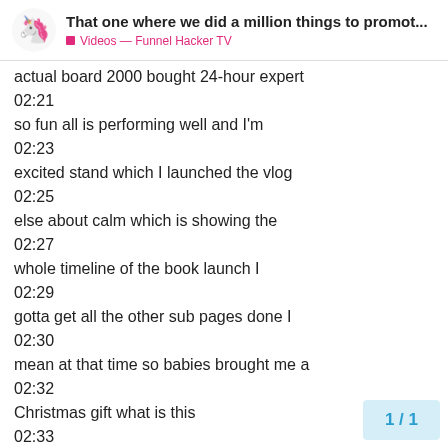That one where we did a million things to promot... | Videos — Funnel Hacker TV
actual board 2000 bought 24-hour expert
02:21
so fun all is performing well and I'm
02:23
excited stand which I launched the vlog
02:25
else about calm which is showing the
02:27
whole timeline of the book launch I
02:29
gotta get all the other sub pages done I
02:30
mean at that time so babies brought me a
02:32
Christmas gift what is this
02:33
only way to know exactly what it is is
02:35
step number one you have to pull out
1 / 1